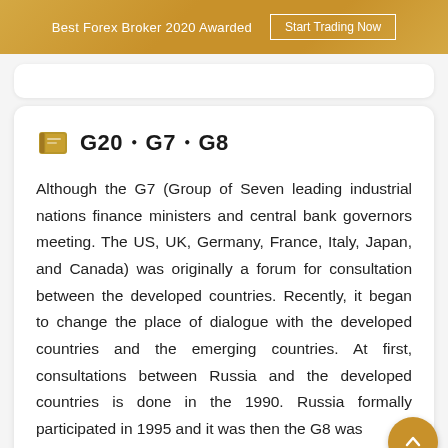Best Forex Broker 2020 Awarded   Start Trading Now
G20・G7・G8
Although the G7 (Group of Seven leading industrial nations finance ministers and central bank governors meeting. The US, UK, Germany, France, Italy, Japan, and Canada) was originally a forum for consultation between the developed countries. Recently, it began to change the place of dialogue with the developed countries and the emerging countries. At first, consultations between Russia and the developed countries is done in the 1990. Russia formally participated in 1995 and it was then the G8 was